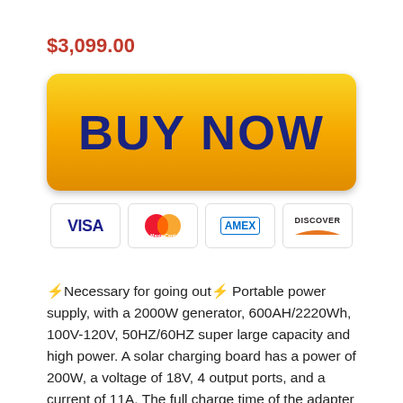$3,099.00
[Figure (other): Yellow gradient BUY NOW button with payment icons: VISA, MasterCard, AMEX, Discover]
⚡Necessary for going out⚡ Portable power supply, with a 2000W generator, 600AH/2220Wh, 100V-120V, 50HZ/60HZ super large capacity and high power. A solar charging board has a power of 200W, a voltage of 18V, 4 output ports, and a current of 11A. The full charge time of the adapter is 10-12 hours, which is very suitable for traveling, family